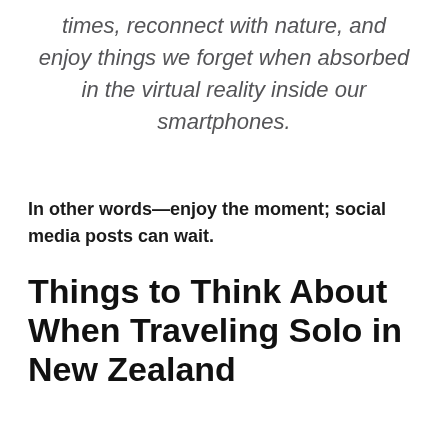times, reconnect with nature, and enjoy things we forget when absorbed in the virtual reality inside our smartphones.
In other words—enjoy the moment; social media posts can wait.
Things to Think About When Traveling Solo in New Zealand